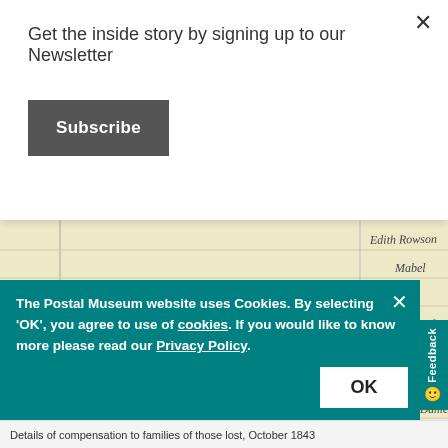Get the inside story by signing up to our Newsletter
Subscribe
[Figure (photo): A historical handwritten ledger page showing family names and dates, including entries for James Joseph Blake, Thomas Joseph Bolster, and Joseph Henry Bradley with associated family members and dates]
The Postal Museum website uses Cookies. By selecting 'OK', you agree to use of cookies. If you would like to know more please read our Privacy Policy.
Details of compensation to families of those lost, October 1843